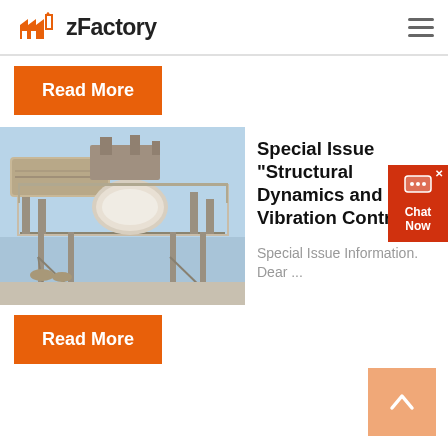zFactory
Read More
[Figure (photo): Industrial machinery or processing plant equipment on a steel platform structure, photographed against a blue sky background.]
Special Issue "Structural Dynamics and Vibration Control"
Special Issue Information. Dear ...
Read More